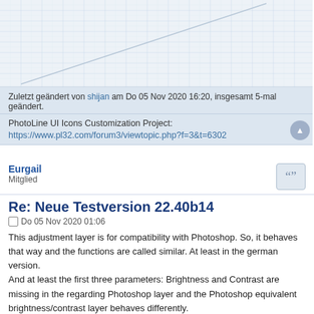[Figure (continuous-plot): Partial view of a line chart with a diagonal line rising from lower-left toward upper-right on a light blue grid background]
Zuletzt geändert von shijan am Do 05 Nov 2020 16:20, insgesamt 5-mal geändert.
PhotoLine UI Icons Customization Project:
https://www.pl32.com/forum3/viewtopic.php?f=3&t=6302
Eurgail
Mitglied
Re: Neue Testversion 22.40b14
Do 05 Nov 2020 01:06
This adjustment layer is for compatibility with Photoshop. So, it behaves that way and the functions are called similar. At least in the german version.
And at least the first three parameters: Brightness and Contrast are missing in the regarding Photoshop layer and the Photoshop equivalent brightness/contrast layer behaves differently.